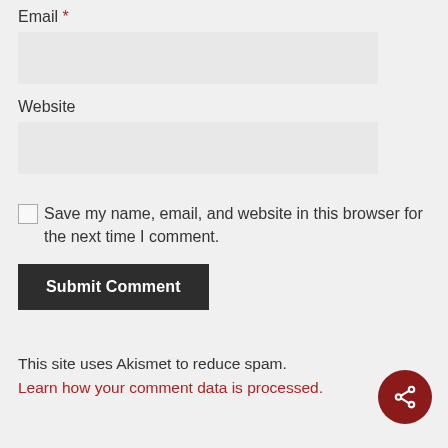Email *
[Figure (other): Empty email input field (light gray rectangle)]
Website
[Figure (other): Empty website input field (light gray rectangle)]
Save my name, email, and website in this browser for the next time I comment.
[Figure (other): Submit Comment button, dark background with white bold text]
This site uses Akismet to reduce spam. Learn how your comment data is processed.
[Figure (other): Dark red circular share button with share icon]